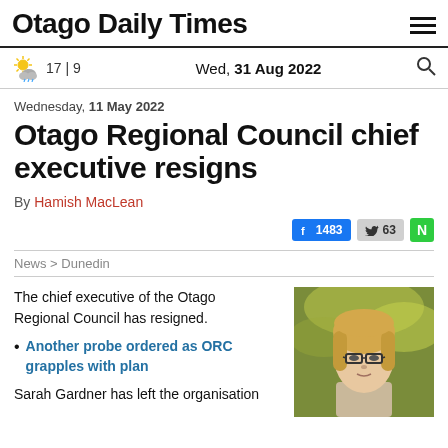Otago Daily Times
17 | 9   Wed, 31 Aug 2022
Wednesday, 11 May 2022
Otago Regional Council chief executive resigns
By Hamish MacLean
1483  63
News > Dunedin
The chief executive of the Otago Regional Council has resigned.
Another probe ordered as ORC grapples with plan
[Figure (photo): Portrait photo of a blonde woman with glasses, outdoors with blurred green/yellow background]
Sarah Gardner has left the organisation